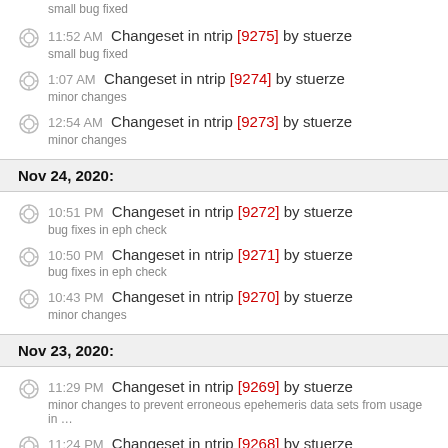small bug fixed
11:52 AM Changeset in ntrip [9275] by stuerze — small bug fixed
1:07 AM Changeset in ntrip [9274] by stuerze — minor changes
12:54 AM Changeset in ntrip [9273] by stuerze — minor changes
Nov 24, 2020:
10:51 PM Changeset in ntrip [9272] by stuerze — bug fixes in eph check
10:50 PM Changeset in ntrip [9271] by stuerze — bug fixes in eph check
10:43 PM Changeset in ntrip [9270] by stuerze — minor changes
Nov 23, 2020:
11:29 PM Changeset in ntrip [9269] by stuerze — minor changes to prevent erroneous epehemeris data sets from usage in …
11:24 PM Changeset in ntrip [9268] by stuerze — minor changes to prevent erroneous epehemeris data sets from usage in …
9:40 PM Changeset in ntrip [9267] by stuerze